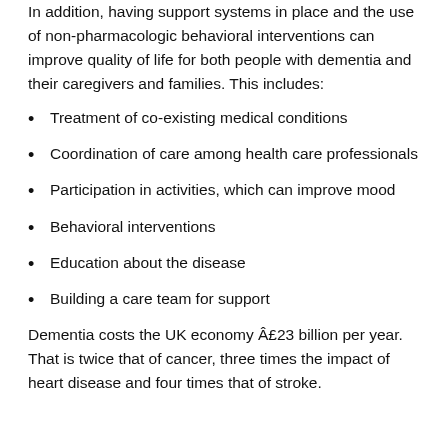In addition, having support systems in place and the use of non-pharmacologic behavioral interventions can improve quality of life for both people with dementia and their caregivers and families. This includes:
Treatment of co-existing medical conditions
Coordination of care among health care professionals
Participation in activities, which can improve mood
Behavioral interventions
Education about the disease
Building a care team for support
Dementia costs the UK economy Â£23 billion per year. That is twice that of cancer, three times the impact of heart disease and four times that of stroke.